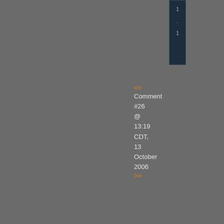[Figure (screenshot): Dark UI panel with navigation bar at top right, showing numbers in dark blue column]
<< Comment #26 @ 13:19 CDT, 13 October 2006 >>
[Figure (screenshot): Dark sidebar panel with orange letters and numbers running vertically]